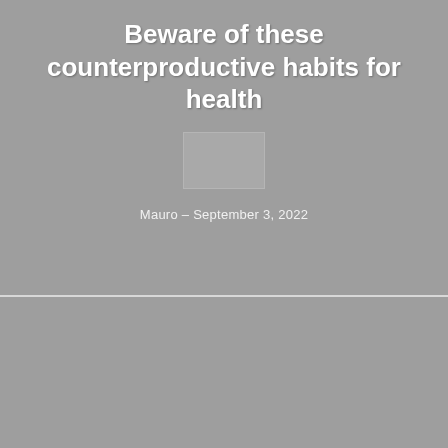Beware of these counterproductive habits for health
[Figure (photo): Faded/ghosted image placeholder beneath the title text]
Mauro - September 3, 2022
[Figure (photo): Large grey image/photo placeholder in the bottom half of the page]